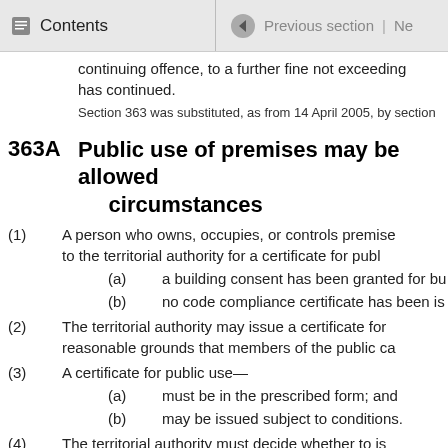Contents | Previous section | Ne
continuing offence, to a further fine not exceeding... has continued.
Section 363 was substituted, as from 14 April 2005, by section
363A Public use of premises may be allowed circumstances
(1) A person who owns, occupies, or controls premises to the territorial authority for a certificate for publ
(a) a building consent has been granted for bu
(b) no code compliance certificate has been is
(2) The territorial authority may issue a certificate for reasonable grounds that members of the public ca
(3) A certificate for public use—
(a) must be in the prescribed form; and
(b) may be issued subject to conditions.
(4) The territorial authority must decide whether to is
(a) within 20 working days after the authority
(b) within any further period agreed between n
(5) Within the period stated in subsection (4), the terr reasonable information in respect of the applicatio